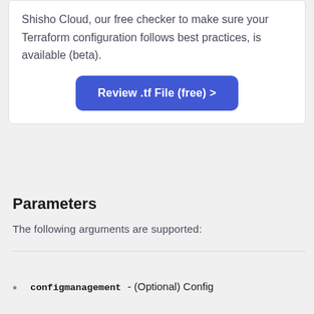Shisho Cloud, our free checker to make sure your Terraform configuration follows best practices, is available (beta).
[Figure (other): Button labeled 'Review .tf File (free) >']
Parameters
The following arguments are supported:
configmanagement - (Optional) Config